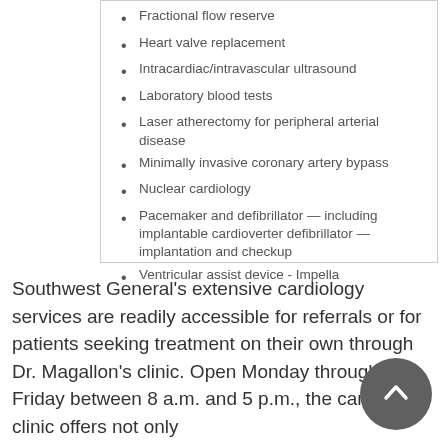Fractional flow reserve
Heart valve replacement
Intracardiac/intravascular ultrasound
Laboratory blood tests
Laser atherectomy for peripheral arterial disease
Minimally invasive coronary artery bypass
Nuclear cardiology
Pacemaker and defibrillator — including implantable cardioverter defibrillator — implantation and checkup
Ventricular assist device - Impella
Southwest General's extensive cardiology services are readily accessible for referrals or for patients seeking treatment on their own through Dr. Magallon's clinic. Open Monday through Friday between 8 a.m. and 5 p.m., the cardiology clinic offers not only